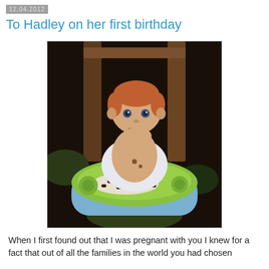12.04.2012
To Hadley on her first birthday
[Figure (photo): A baby (Hadley) sitting in a green/blue baby seat at a wooden table outdoors, eating birthday cake with chocolate crumbs on the tray, wearing no shirt, with reddish-brown hair.]
When I first found out that I was pregnant with you I knew for a fact that out of all the families in the world you had chosen